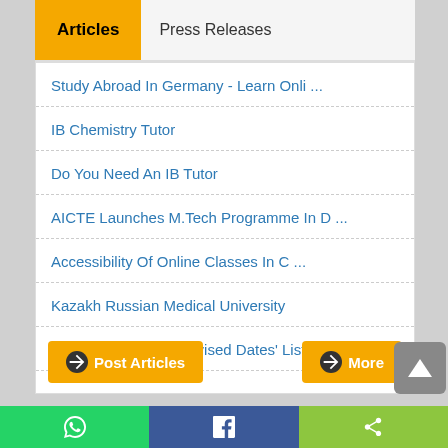Articles  Press Releases
Study Abroad In Germany - Learn Onli ...
IB Chemistry Tutor
Do You Need An IB Tutor
AICTE Launches M.Tech Programme In D ...
Accessibility Of Online Classes In C ...
Kazakh Russian Medical University
NTA Examinations Revised Dates' List
Post Articles
More